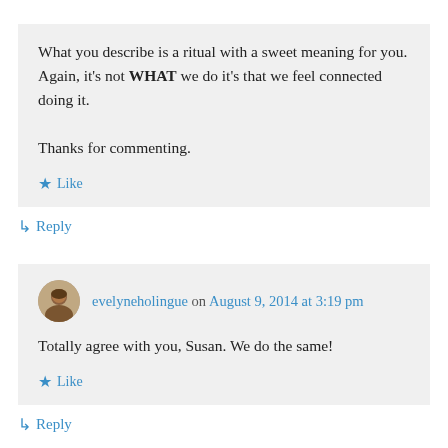What you describe is a ritual with a sweet meaning for you. Again, it's not WHAT we do it's that we feel connected doing it.

Thanks for commenting.
★ Like
↳ Reply
evelyneholingue on August 9, 2014 at 3:19 pm
Totally agree with you, Susan. We do the same!
★ Like
↳ Reply